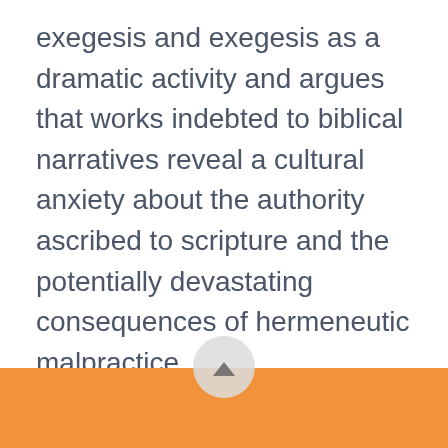exegesis and exegesis as a dramatic activity and argues that works indebted to biblical narratives reveal a cultural anxiety about the authority ascribed to scripture and the potentially devastating consequences of hermeneutic malpractice.
Shane Wood (Drama) Research interests: depictions of Medieval Mystic women and their Early Modern Theatrical representations.